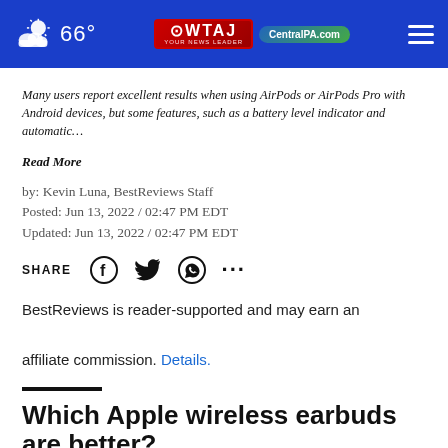66° WTAJ YOUR NEWS LEADER CentralPA.com
Many users report excellent results when using AirPods or AirPods Pro with Android devices, but some features, such as a battery level indicator and automatic…
Read More
by: Kevin Luna, BestReviews Staff
Posted: Jun 13, 2022 / 02:47 PM EDT
Updated: Jun 13, 2022 / 02:47 PM EDT
SHARE
BestReviews is reader-supported and may earn an affiliate commission. Details.
Which Apple wireless earbuds are better?